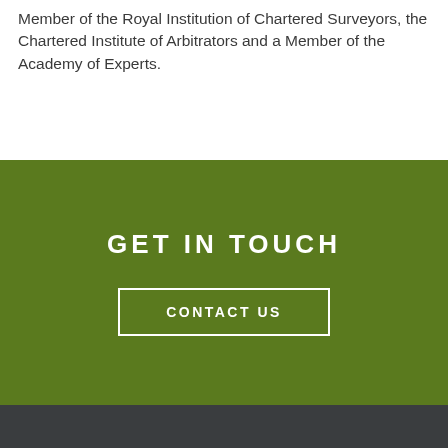Member of the Royal Institution of Chartered Surveyors, the Chartered Institute of Arbitrators and a Member of the Academy of Experts.
GET IN TOUCH
CONTACT US